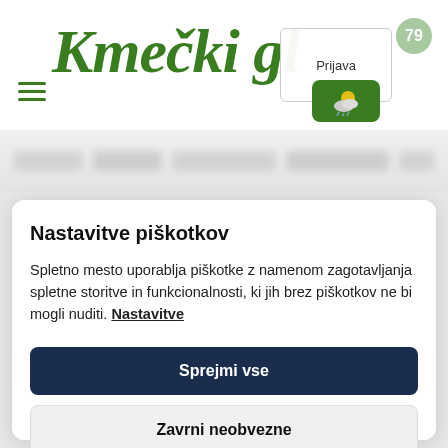[Figure (screenshot): Kmečki glas website logo in green italic serif font with hamburger menu icon]
[Figure (screenshot): Weather widget showing partly cloudy with rain icon, Prijava login button, and notification badge showing 79]
[Figure (screenshot): Blurred navigation menu bar]
Nastavitve piškotkov
Spletno mesto uporablja piškotke z namenom zagotavljanja spletne storitve in funkcionalnosti, ki jih brez piškotkov ne bi mogli nuditi. Nastavitve
Sprejmi vse
Zavrni neobvezne